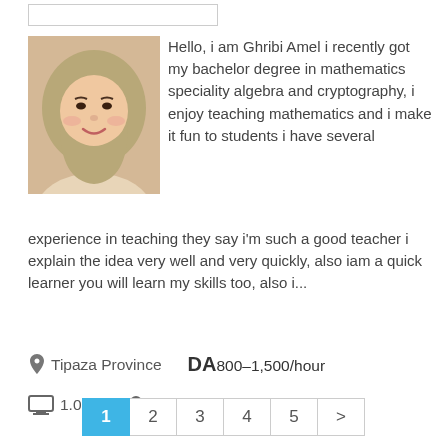[Figure (photo): Profile photo of a young woman wearing a hijab, smiling]
Hello, i am Ghribi Amel i recently got my bachelor degree in mathematics speciality algebra and cryptography, i enjoy teaching mathematics and i make it fun to students i have several experience in teaching they say i'm such a good teacher i explain the idea very well and very quickly, also iam a quick learner you will learn my skills too, also i...
Tipaza Province   DA 800–1,500/hour
1.0 yr.   3.0 yr.
1  2  3  4  5  >